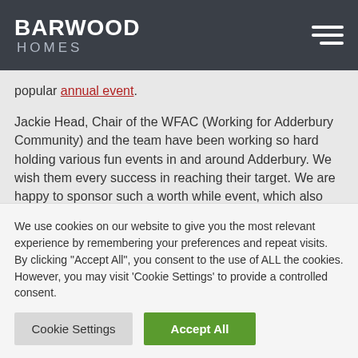BARWOOD HOMES
popular annual event.
Jackie Head, Chair of the WFAC (Working for Adderbury Community) and the team have been working so hard holding various fun events in and around Adderbury. We wish them every success in reaching their target. We are happy to sponsor such a worth while event, which also helps our customers in
We use cookies on our website to give you the most relevant experience by remembering your preferences and repeat visits. By clicking "Accept All", you consent to the use of ALL the cookies. However, you may visit 'Cookie Settings' to provide a controlled consent.